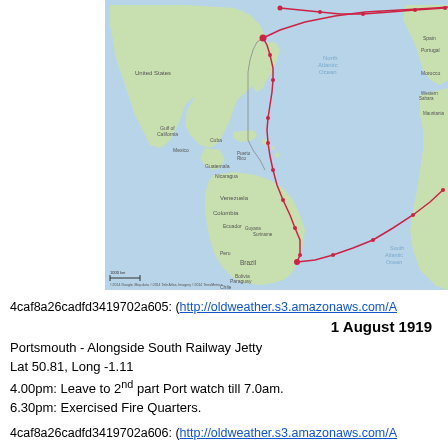[Figure (map): World map showing shipping route traced in red/pink line across the Atlantic Ocean, connecting ports in North America, Caribbean, and South America, with route markers/dots along the path. Map shows North Atlantic Ocean, North America, South America, and western edges of Europe and Africa.]
4caf8a26cadfd3419702a605: (http://oldweather.s3.amazonaws.com/A
1 August 1919
Portsmouth - Alongside South Railway Jetty
Lat 50.81, Long -1.11
4.00pm: Leave to 2nd part Port watch till 7.0am.
6.30pm: Exercised Fire Quarters.
4caf8a26cadfd3419702a606: (http://oldweather.s3.amazonaws.com/A